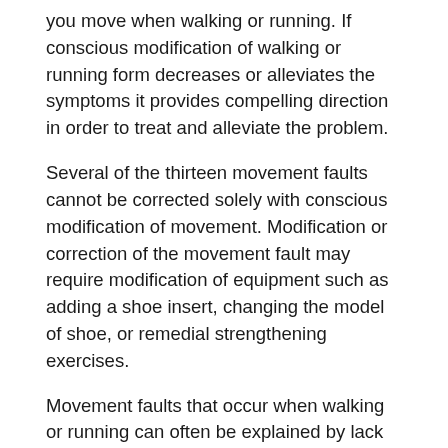you move when walking or running. If conscious modification of walking or running form decreases or alleviates the symptoms it provides compelling direction in order to treat and alleviate the problem.
Several of the thirteen movement faults cannot be corrected solely with conscious modification of movement. Modification or correction of the movement fault may require modification of equipment such as adding a shoe insert, changing the model of shoe, or remedial strengthening exercises.
Movement faults that occur when walking or running can often be explained by lack of talent or insufficient practice of ideal form. An example is taking too long of a stride. However movement faults may occur because of underlying anatomical or structural issues. An example is an individual is born with a minor hip dysplasia would likely demonstrate odd movement patterns when walking or running. Visualization and recognizing movement fault using slow motion video gait analysis can help problem solve whether clinical